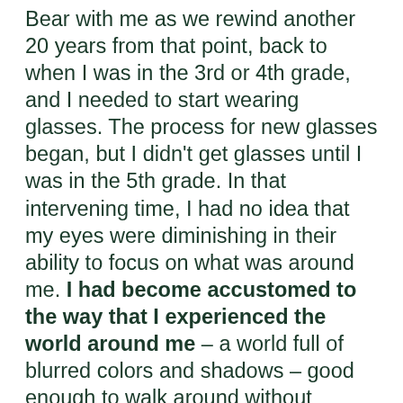Bear with me as we rewind another 20 years from that point, back to when I was in the 3rd or 4th grade, and I needed to start wearing glasses. The process for new glasses began, but I didn't get glasses until I was in the 5th grade. In that intervening time, I had no idea that my eyes were diminishing in their ability to focus on what was around me. I had become accustomed to the way that I experienced the world around me – a world full of blurred colors and shadows – good enough to walk around without bumping into anything, but I wasn't able to properly see. When I finally did get glasses, I saw everything in a whole new way. I realized that what the teacher was writing on the chalkboard was something that I was actually supposed to be able to see. I